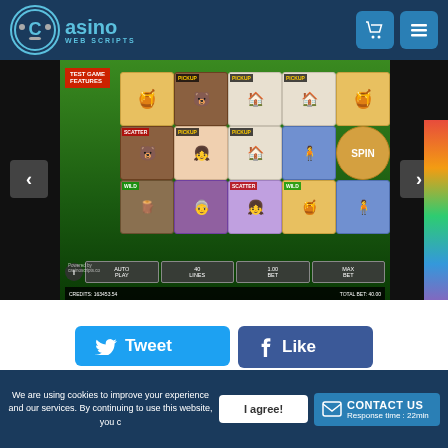[Figure (screenshot): Casino Web Scripts website header with logo and navigation icons (cart, menu)]
[Figure (screenshot): Casino slot game screenshot showing a fairy-tale themed slot machine with WILD, SCATTER symbols, a SPIN button, AUTO PLAY, 40 LINES, 1.00 BET, MAX BET controls, and credits display]
[Figure (screenshot): Social sharing buttons: Tweet (Twitter/blue), Like (Facebook/dark blue), Share (LinkedIn/blue), Pin it (Pinterest/red)]
We are using cookies to improve your experience and our services. By continuing to use this website, you agree to our use of cookies.
I agree!
CONTACT US Response time : 22min